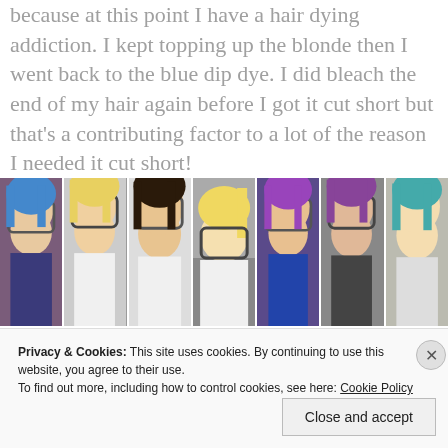because at this point I have a hair dying addiction. I kept topping up the blonde then I went back to the blue dip dye. I did bleach the end of my hair again before I got it cut short but that's a contributing factor to a lot of the reason I needed it cut short!
[Figure (photo): A horizontal strip of seven photos of a young woman with various hair colors and styles including blue, blonde, and purple.]
Once short, I dyed it blue, bleached it to hell and back then went for a galaxy inspired look and at
Privacy & Cookies: This site uses cookies. By continuing to use this website, you agree to their use.
To find out more, including how to control cookies, see here: Cookie Policy